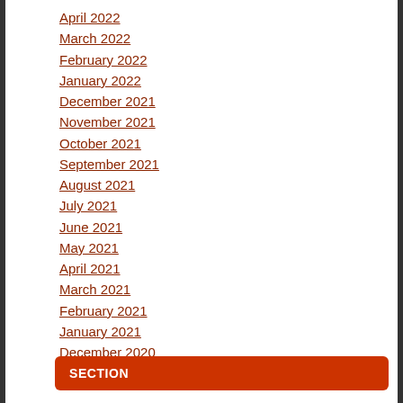April 2022
March 2022
February 2022
January 2022
December 2021
November 2021
October 2021
September 2021
August 2021
July 2021
June 2021
May 2021
April 2021
March 2021
February 2021
January 2021
December 2020
November 2020
SECTION